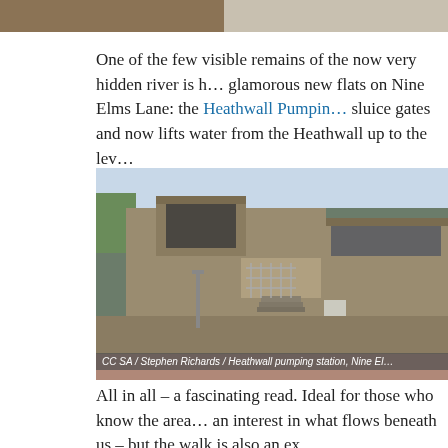[Figure (photo): Top partial photos - two images cropped at top of page, left shows sandy/rocky ground, right shows water or light colored surface]
One of the few visible remains of the now very hidden river is h… glamorous new flats on Nine Elms Lane: the Heathwall Pumpin… sluice gates and now lifts water from the Heathwall up to the lev…
[Figure (photo): Heathwall pumping station, Nine Elms Lane - a brutalist brick building with angular massing, metal railings, steps to entrance, and a low perimeter wall along the street]
CC SA / Stephen Richards / Heathwall pumping station, Nine El…
All in all – a fascinating read. Ideal for those who know the area… an interest in what flows beneath us – but the walk is also an ex…